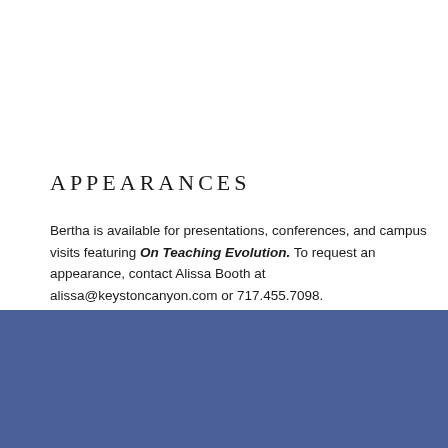APPEARANCES
Bertha is available for presentations, conferences, and campus visits featuring On Teaching Evolution. To request an appearance, contact Alissa Booth at alissa@keystoncanyon.com or 717.455.7098.
Keystone Canyon Press
2341 Crestone Dr
Reno, NV 89523